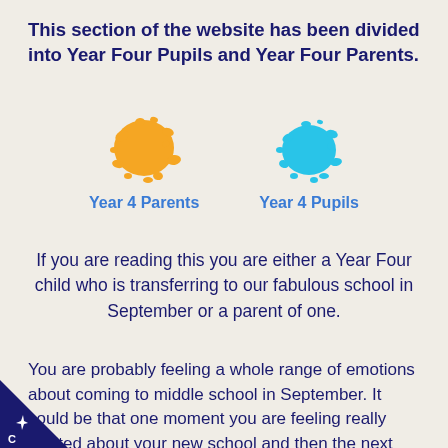This section of the website has been divided into Year Four Pupils and Year Four Parents.
[Figure (illustration): Two paint splat icons side by side: an orange splat labeled 'Year 4 Parents' on the left, and a cyan/blue splat labeled 'Year 4 Pupils' on the right.]
If you are reading this you are either a Year Four child who is transferring to our fabulous school in September or a parent of one.
You are probably feeling a whole range of emotions about coming to middle school in September. It could be that one moment you are feeling really excited about your new school and then the next you are really nervous and anxious because you